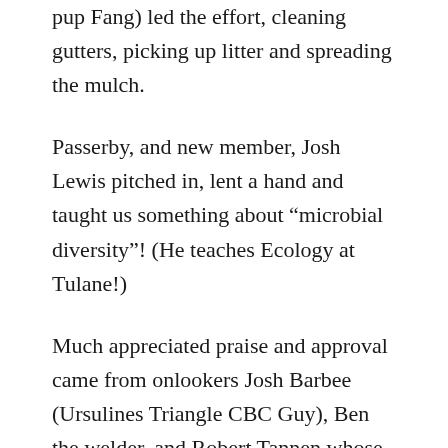pup Fang) led the effort, cleaning gutters, picking up litter and spreading the mulch.
Passerby, and new member, Josh Lewis pitched in, lent a hand and taught us something about “microbial diversity”! (He teaches Ecology at Tulane!)
Much appreciated praise and approval came from onlookers Josh Barbee (Ursulines Triangle CBC Guy), Ben the welder, and Robert Tannen whose art piece occupies the other end of the park.